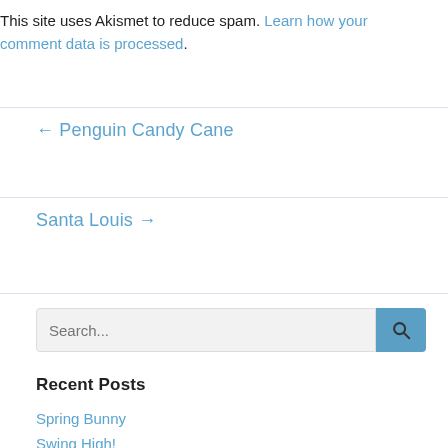This site uses Akismet to reduce spam. Learn how your comment data is processed.
← Penguin Candy Cane
Santa Louis →
[Figure (other): Search input box with search button]
Recent Posts
Spring Bunny
Swing High!
Not a Card